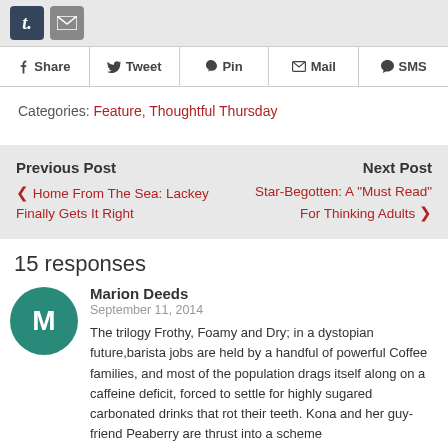[Figure (screenshot): Tumblr and email icon buttons in a grey toolbar]
[Figure (infographic): Social share bar with Share, Tweet, Pin, Mail, SMS buttons]
Categories: Feature, Thoughtful Thursday
Previous Post
❮ Home From The Sea: Lackey Finally Gets It Right
Next Post
Star-Begotten: A "Must Read" For Thinking Adults ❯
15 responses
Marion Deeds
September 11, 2014
The trilogy Frothy, Foamy and Dry; in a dystopian future,barista jobs are held by a handful of powerful Coffee families, and most of the population drags itself along on a caffeine deficit, forced to settle for highly sugared carbonated drinks that rot their teeth. Kona and her guy-friend Peaberry are thrust into a scheme